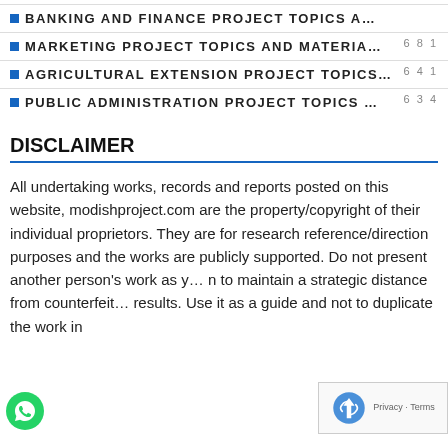BANKING AND FINANCE PROJECT TOPICS A…
681
MARKETING PROJECT TOPICS AND MATERIA…
641
AGRICULTURAL EXTENSION PROJECT TOPICS…
634
PUBLIC ADMINISTRATION PROJECT TOPICS …
DISCLAIMER
All undertaking works, records and reports posted on this website, modishproject.com are the property/copyright of their individual proprietors. They are for research reference/direction purposes and the works are publicly supported. Do not present another person's work as yo… n to maintain a strategic distance from counterfeit… results. Use it as a guide and not to duplicate the work in